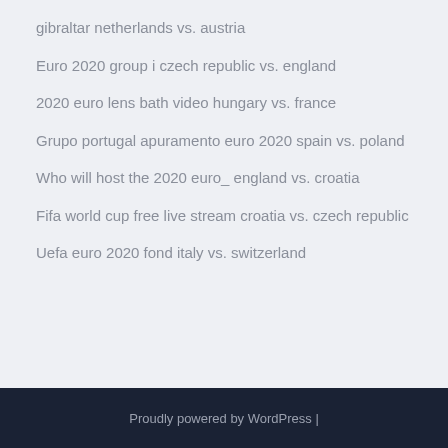gibraltar netherlands vs. austria
Euro 2020 group i czech republic vs. england
2020 euro lens bath video hungary vs. france
Grupo portugal apuramento euro 2020 spain vs. poland
Who will host the 2020 euro_ england vs. croatia
Fifa world cup free live stream croatia vs. czech republic
Uefa euro 2020 fond italy vs. switzerland
Proudly powered by WordPress |